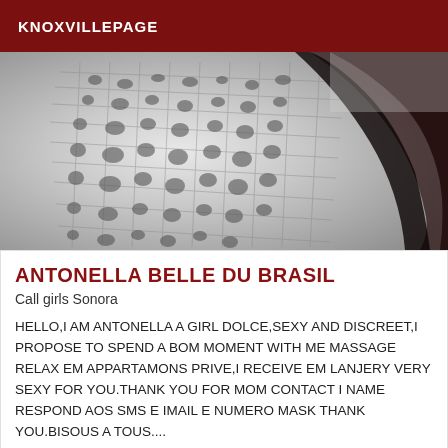KNOXVILLEPAGE
[Figure (photo): Black and white photo showing a close-up of a woman in a white lace/net fabric top with dark hair visible on the right side]
ANTONELLA BELLE DU BRASIL
Call girls Sonora
HELLO,I AM ANTONELLA A GIRL DOLCE,SEXY AND DISCREET,I PROPOSE TO SPEND A BOM MOMENT WITH ME MASSAGE RELAX EM APPARTAMONS PRIVE,I RECEIVE EM LANJERY VERY SEXY FOR YOU.THANK YOU FOR MOM CONTACT I NAME RESPOND AOS SMS E IMAIL E NUMERO MASK THANK YOU.BISOUS A TOUS....